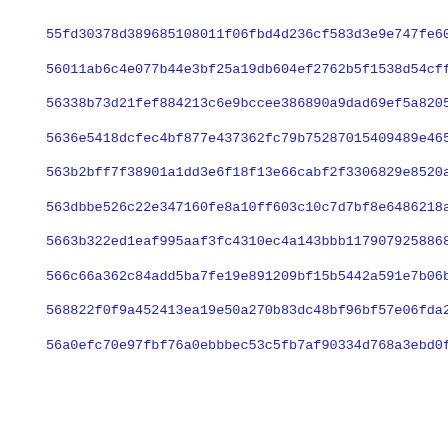55fd30378d389685108011f06fbd4d236cf583d3e9e747fe60d890584efab
56011ab6c4e077b44e3bf25a19db604ef2762b5f1538d54cffd3336a52b7d
56338b73d21fef884213c6e9bccee386890a9dad69ef5a8205f22d2e53a78
5636e5418dcfec4bf877e437362fc79b75287015409489e465da3780452766
563b2bff7f38901a1dd3e6f18f13e66cabf2f3306829e8520a66975cd737b
563dbbe526c22e347160fe8a10ff603c10c7d7bf8e6486218a73c184fae51
5663b322ed1eaf995aaf3fc4310ec4a143bbb117907925886860c1c1ef7ab
566c66a362c84add5ba7fe19e891209bf15b5442a591e7b06b31b40c633e8
568822f0f9a452413ea19e50a270b83dc48bf96bf57e06fda22f90ae5431c
56a0efc70e97fbf76a0ebbbec53c5fb7af90334d768a3ebd0fd711b04fb4b